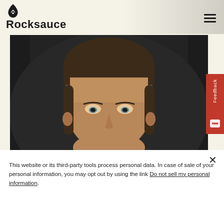Rocksauce
[Figure (photo): Headshot of a man against a dark background]
This website or its third-party tools process personal data. In case of sale of your personal information, you may opt out by using the link Do not sell my personal information.